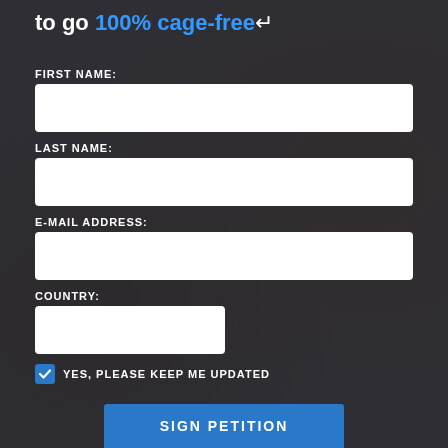to go 100% cage-free
FIRST NAME:
LAST NAME:
E-MAIL ADDRESS:
COUNTRY:
YES, PLEASE KEEP ME UPDATED
SIGN PETITION